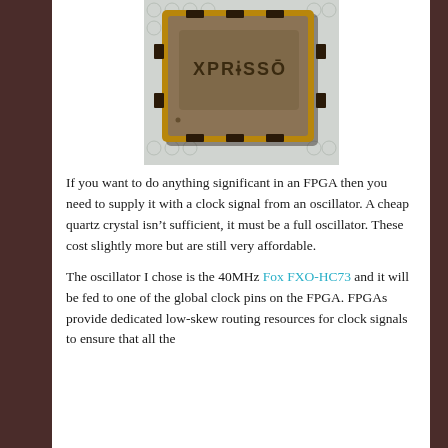[Figure (photo): Close-up photo of an XpressO quartz oscillator component, showing a small rectangular gold-colored SMD oscillator package with 'XPRESS O' text embossed on the top surface, sitting on a reflective bubble-wrap-like surface.]
If you want to do anything significant in an FPGA then you need to supply it with a clock signal from an oscillator. A cheap quartz crystal isn't sufficient, it must be a full oscillator. These cost slightly more but are still very affordable.
The oscillator I chose is the 40MHz Fox FXO-HC73 and it will be fed to one of the global clock pins on the FPGA. FPGAs provide dedicated low-skew routing resources for clock signals to ensure that all the